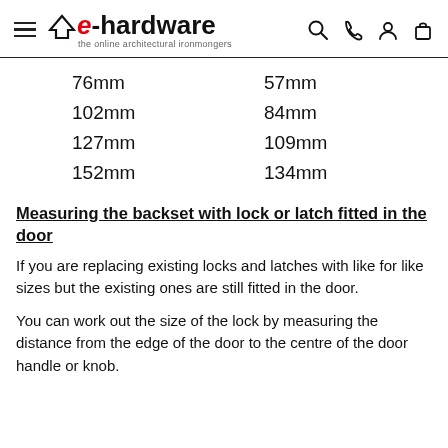e-hardware — the online architectural ironmongers
| 76mm | 57mm |
| 102mm | 84mm |
| 127mm | 109mm |
| 152mm | 134mm |
Measuring the backset with lock or latch fitted in the door
If you are replacing existing locks and latches with like for like sizes but the existing ones are still fitted in the door.
You can work out the size of the lock by measuring the distance from the edge of the door to the centre of the door handle or knob.